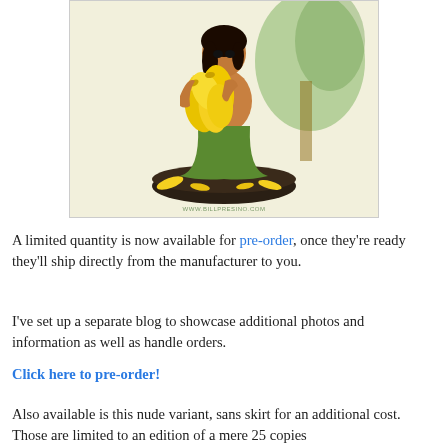[Figure (illustration): A painted figurine/statue of a woman in a green skirt hugging a large bunch of yellow bananas, mounted on a dark round base with bananas scattered around it. Watermark text: WWW.BILLPRESINO.COM]
A limited quantity is now available for pre-order, once they're ready they'll ship directly from the manufacturer to you.
I've set up a separate blog to showcase additional photos and information as well as handle orders.
Click here to pre-order!
Also available is this nude variant, sans skirt for an additional cost. Those are limited to an edition of a mere 25 copies